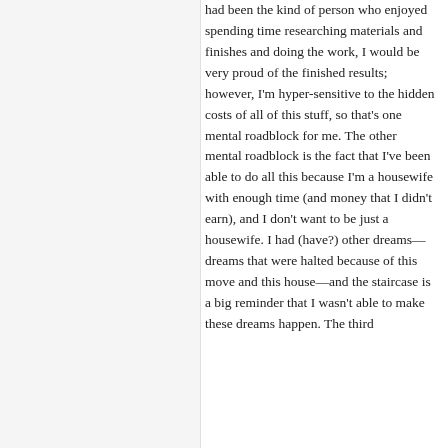had been the kind of person who enjoyed spending time researching materials and finishes and doing the work, I would be very proud of the finished results; however, I'm hyper-sensitive to the hidden costs of all of this stuff, so that's one mental roadblock for me. The other mental roadblock is the fact that I've been able to do all this because I'm a housewife with enough time (and money that I didn't earn), and I don't want to be just a housewife. I had (have?) other dreams—dreams that were halted because of this move and this house—and the staircase is a big reminder that I wasn't able to make these dreams happen. The third